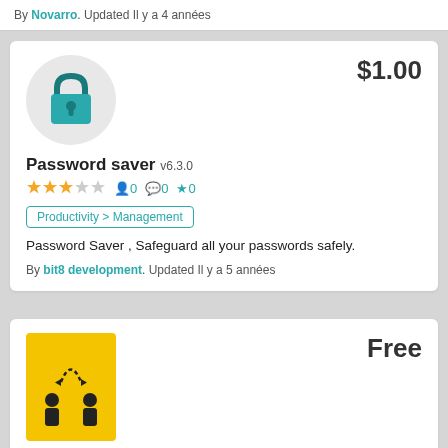By Novarro. Updated Il y a 4 années
$1.00
[Figure (illustration): Green padlock icon on light grey circle background]
Password saver v6.3.0
3 stars (out of 5), 0 followers, 0 comments, 0 favorites
Productivity > Management
Password Saver , Safeguard all your passwords safely.
By bit8 development. Updated Il y a 5 années
Free
[Figure (illustration): Yellow rectangle icon with two human figures and circular arrow between them indicating sharing or transfer]